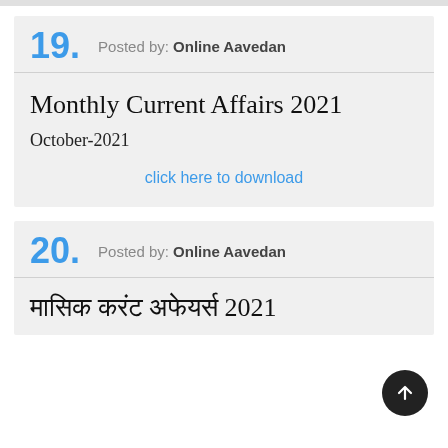19. Posted by: Online Aavedan
Monthly Current Affairs 2021
October-2021
click here to download
20. Posted by: Online Aavedan
मासिक करंट अफेयर्स 2021